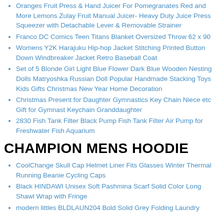Oranges Fruit Press & Hand Juicer For Pomegranates Red and More Lemons Zulay Fruit Manual Juicer- Heavy Duty Juice Press Squeezer with Detachable Lever & Removable Strainer
Franco DC Comics Teen Titans Blanket Oversized Throw 62 x 90
Womens Y2K Harajuku Hip-hop Jacket Stitching Printed Button Down Windbreaker Jacket Retro Baseball Coat
Set of 5 Blonde Girl Light Blue Flower Dark Blue Wooden Nesting Dolls Matryoshka Russian Doll Popular Handmade Stacking Toys Kids Gifts Christmas New Year Home Decoration
Christmas Present for Daughter Gymnastics Key Chain Niece etc Gift for Gymnast Keychain Granddaughter
2830 Fish Tank Filter Black Pump Fish Tank Filter Air Pump for Freshwater Fish Aquarium
CHAMPION MENS HOODIE
CoolChange Skull Cap Helmet Liner Fits Glasses Winter Thermal Running Beanie Cycling Caps
Black HINDAWI Unisex Soft Pashmina Scarf Solid Color Long Shawl Wrap with Fringe
modern littles BLDLAUN204 Bold Solid Grey Folding Laundry